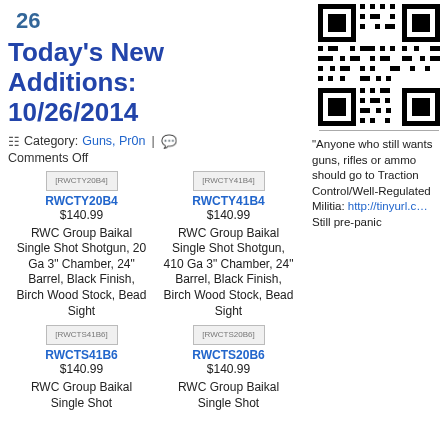26
Today's New Additions: 10/26/2014
Category: Guns, Pr0n | Comments Off
[Figure (other): QR code image]
[Figure (photo): RWCTY20B4 product image placeholder]
RWCTY20B4
$140.99
[Figure (photo): RWCTY41B4 product image placeholder]
RWCTY41B4
$140.99
RWC Group Baikal Single Shot Shotgun, 20 Ga 3" Chamber, 24" Barrel, Black Finish, Birch Wood Stock, Bead Sight
RWC Group Baikal Single Shot Shotgun, 410 Ga 3" Chamber, 24" Barrel, Black Finish, Birch Wood Stock, Bead Sight
[Figure (photo): RWCTS41B6 product image placeholder]
RWCTS41B6
$140.99
[Figure (photo): RWCTS20B6 product image placeholder]
RWCTS20B6
$140.99
RWC Group Baikal Single Shot RWC Group Baikal Single Shot
"Anyone who still wants guns, rifles or ammo should go to Traction Control/Well-Regulated Militia: http://tinyurl.c… Still pre-panic